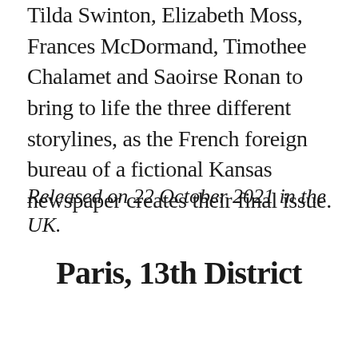Tilda Swinton, Elizabeth Moss, Frances McDormand, Timothee Chalamet and Saoirse Ronan to bring to life the three different storylines, as the French foreign bureau of a fictional Kansas newspaper creates their final issue.
Released on 22 October 2021 in the UK.
Paris, 13th District